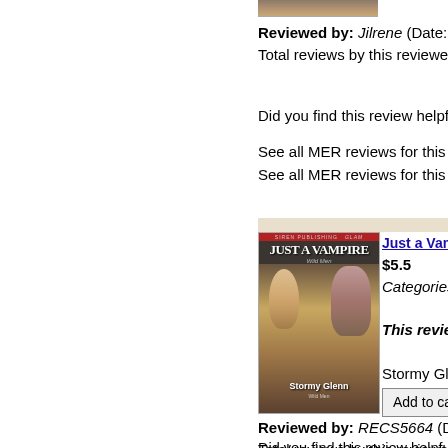[Figure (photo): Top portion of a book cover image, cropped]
Reviewed by: Jilrene (Date: 04/06/2... Total reviews by this reviewer: 67 See...
Did you find this review helpful? You m...
See all MER reviews for this title: Jus...
See all MER reviews for this author: S...
[Figure (photo): Book cover for 'Just a Vampire' by Stormy Glenn, Siren Publishing]
Just a Vampire (M...
$5.5
Categories: Parano...

This reviewer's ra...

Stormy Glenn alway...
Add to cart
Reviewed by: RECS5664 (Date: 03/... Total reviews by this reviewer: 24 See...
Did you find this review helpful? You m...